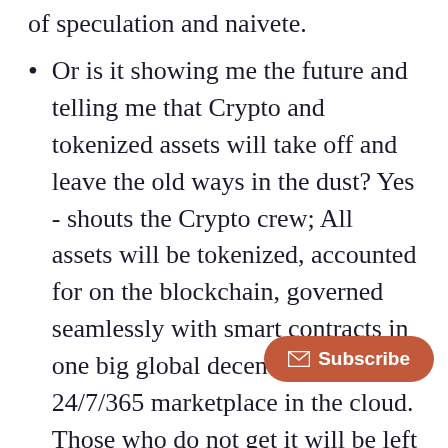of speculation and naivete.
Or is it showing me the future and telling me that Crypto and tokenized assets will take off and leave the old ways in the dust? Yes - shouts the Crypto crew; All assets will be tokenized, accounted for on the blockchain, governed seamlessly with smart contracts in one big global decentralized 24/7/365 marketplace in the cloud. Those who do not get it will be left by the wayside, while those who do will ride [obscured] unicorns and purple Lambo[s]
As Churchill put it; “Statistics are like a drunk with a lamp post; used more for